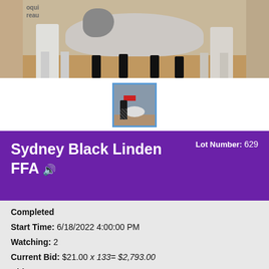[Figure (photo): Main photo of a sheep/lamb being shown at a livestock show, with two handlers in white pants visible. Sandy/wood shaving floor. Partial signage reading 'oqui' and 'reau' visible in background.]
[Figure (photo): Thumbnail image with blue border showing a small animal (pig or lamb) being shown by a handler in dark clothing, with a red sign/banner visible.]
Sydney Black Linden FFA  Lot Number: 629
Completed
Start Time: 6/18/2022 4:00:00 PM
Watching: 2
Current Bid: $21.00 x 133= $2,793.00
Bid Count: 13